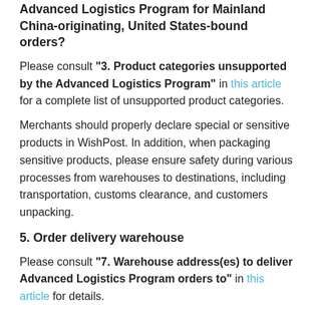Advanced Logistics Program for Mainland China-originating, United States-bound orders?
Please consult "3. Product categories unsupported by the Advanced Logistics Program" in this article for a complete list of unsupported product categories.
Merchants should properly declare special or sensitive products in WishPost. In addition, when packaging sensitive products, please ensure safety during various processes from warehouses to destinations, including transportation, customs clearance, and customers unpacking.
5. Order delivery warehouse
Please consult "7. Warehouse address(es) to deliver Advanced Logistics Program orders to" in this article for details.
6. How to remove United States-bound Advanced Logistics Program orders from the advanced bound